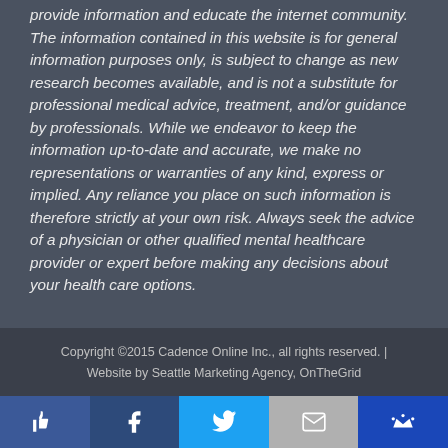provide information and educate the internet community. The information contained in this website is for general information purposes only, is subject to change as new research becomes available, and is not a substitute for professional medical advice, treatment, and/or guidance by professionals. While we endeavor to keep the information up-to-date and accurate, we make no representations or warranties of any kind, express or implied. Any reliance you place on such information is therefore strictly at your own risk. Always seek the advice of a physician or other qualified mental healthcare provider or expert before making any decisions about your health care options.
Copyright ©2015 Cadence Online Inc., all rights reserved. | Website by Seattle Marketing Agency, OnTheGrid